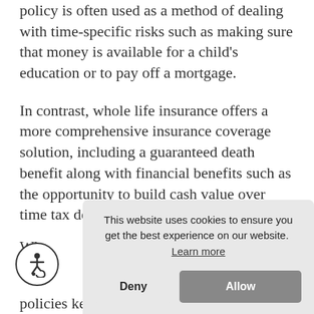policy is often used as a method of dealing with time-specific risks such as making sure that money is available for a child's education or to pay off a mortgage.
In contrast, whole life insurance offers a more comprehensive insurance coverage solution, including a guaranteed death benefit along with financial benefits such as the opportunity to build cash value over time tax deferred, with acc[umulated…]
Wh[ole life insurance is] les[s…]
policies keep premiums level throughout a
[Figure (screenshot): Cookie consent banner overlay with text 'This website uses cookies to ensure you get the best experience on our website. Learn more' and two buttons: 'Deny' and 'Allow'. An accessibility icon (wheelchair symbol in a circle) is visible at the bottom left.]